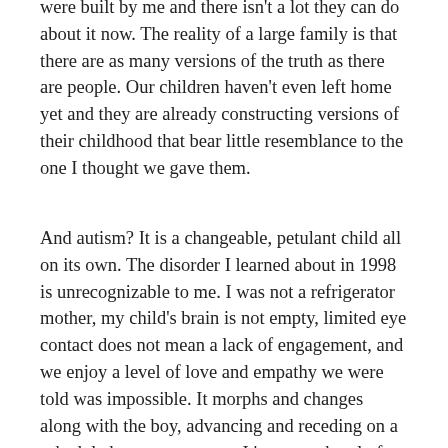were built by me and there isn't a lot they can do about it now. The reality of a large family is that there are as many versions of the truth as there are people. Our children haven't even left home yet and they are already constructing versions of their childhood that bear little resemblance to the one I thought we gave them.
And autism? It is a changeable, petulant child all on its own. The disorder I learned about in 1998 is unrecognizable to me. I was not a refrigerator mother, my child's brain is not empty, limited eye contact does not mean a lack of engagement, and we enjoy a level of love and empathy we were told was impossible. It morphs and changes along with the boy, advancing and receding on a schedule known to no one. It's a cat, a bowl of Jell-O, a dish of mercury, a block of granite. I will follow its hillite......it's heartless and it is...